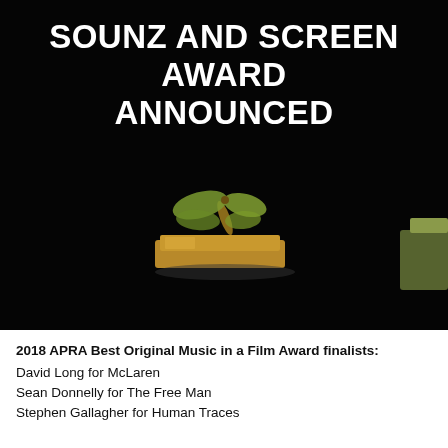SOUNZ AND SCREEN AWARDS ANNOUNCED
[Figure (photo): Three award trophies on a black background: a gold dragonfly on a rectangular base, a gold treble clef on a pyramid-shaped base, and a partial view of a third trophy on the right edge.]
2018 APRA Best Original Music in a Film Award finalists:
David Long for McLaren
Sean Donnelly for The Free Man
Stephen Gallagher for Human Traces